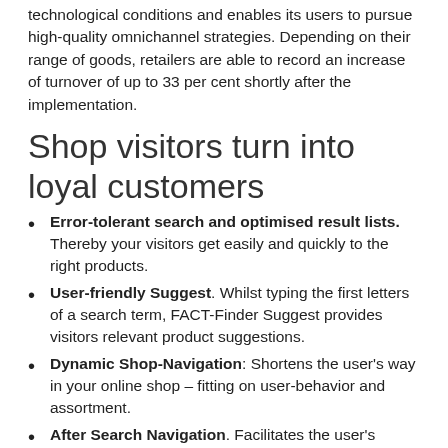technological conditions and enables its users to pursue high-quality omnichannel strategies. Depending on their range of goods, retailers are able to record an increase of turnover of up to 33 per cent shortly after the implementation.
Shop visitors turn into loyal customers
Error-tolerant search and optimised result lists. Thereby your visitors get easily and quickly to the right products.
User-friendly Suggest. Whilst typing the first letters of a search term, FACT-Finder Suggest provides visitors relevant product suggestions.
Dynamic Shop-Navigation: Shortens the user's way in your online shop – fitting on user-behavior and assortment.
After Search Navigation. Facilitates the user's purchase decision through filter possibilities, e.g. by brand, size or color.
Recommendation Engine. Provides to each search request further suitable product suggestions. Thus, you